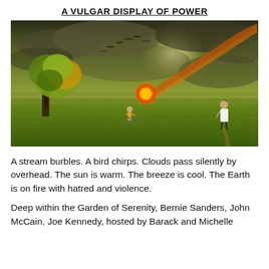A VULGAR DISPLAY OF POWER
[Figure (photo): A dramatic fantasy/surreal scene: a green grassy field under a stormy, greenish-yellow sky. On the left stands a large leafy tree. In the center background, birds fly. A large fiery meteor with an orange-red trail streaks diagonally across the sky from upper right toward the center. In the middle distance, a small child figure with a bicycle stands in the field. On the right, a young woman in a white dress stands watching the meteor. The atmosphere is ominous and apocalyptic.]
A stream burbles. A bird chirps. Clouds pass silently by overhead. The sun is warm. The breeze is cool. The Earth is on fire with hatred and violence.
Deep within the Garden of Serenity, Bernie Sanders, John McCain, Joe Kennedy, hosted by Barack and Michelle